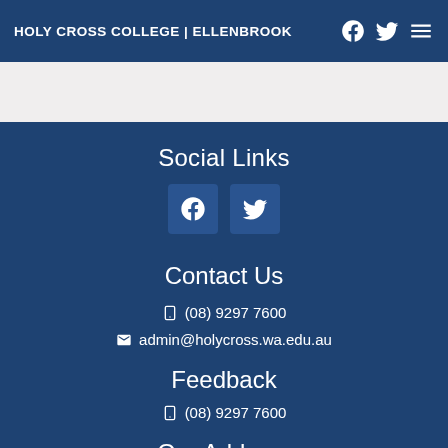HOLY CROSS COLLEGE | ELLENBROOK
Social Links
Facebook | Twitter (social icons)
Contact Us
(08) 9297 7600
admin@holycross.wa.edu.au
Feedback
(08) 9297 7600
Our Address